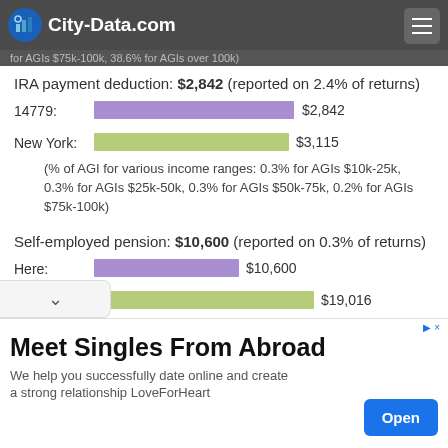City-Data.com
for AGIs $75k-100k, 38.6% for AGIs over 100k)
IRA payment deduction: $2,842 (reported on 2.4% of returns)
[Figure (bar-chart): IRA payment deduction]
(% of AGI for various income ranges: 0.3% for AGIs $10k-25k, 0.3% for AGIs $25k-50k, 0.3% for AGIs $50k-75k, 0.2% for AGIs $75k-100k)
Self-employed pension: $10,600 (reported on 0.3% of returns)
[Figure (bar-chart): Self-employed pension]